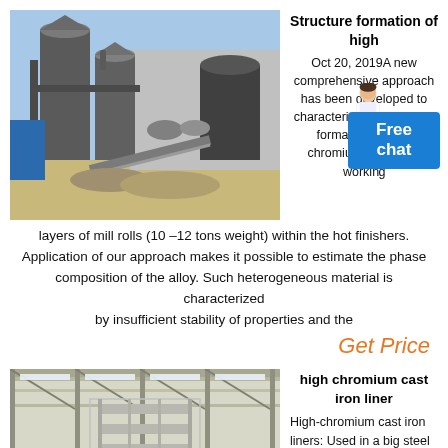[Figure (photo): Industrial mill or grinding plant exterior with large cylindrical towers, pipes, and conveyor belts under a blue sky]
Structure formation of high
Oct 20, 2019A new comprehensive approach has been developed to characterize the structure formation of high-chromium iron in the working layers of mill rolls (10 –12 tons weight) within the hot finishers. Application of our approach makes it possible to estimate the phase composition of the alloy. Such heterogeneous material is characterized by insufficient stability of properties and the
Get Price
[Figure (photo): Interior of a large industrial building or steel mill with metal scaffolding and overhead lighting]
high chromium cast iron liner
High-chromium cast iron liners: Used in a big steel mill, mining